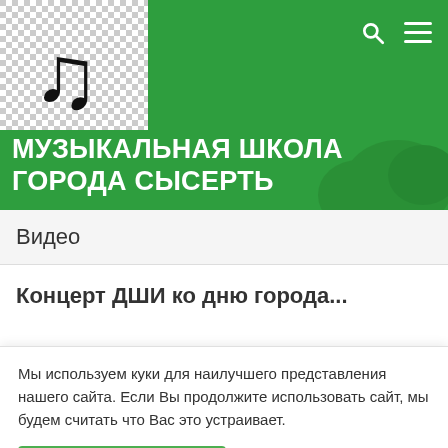[Figure (logo): Music school logo: black musical note on checkered background, on green header]
МУЗЫКАЛЬНАЯ ШКОЛА ГОРОДА СЫСЕРТЬ
Видео
Концерт ДШИ ко дню города...
Мы используем куки для наилучшего представления нашего сайта. Если Вы продолжите использовать сайт, мы будем считать что Вас это устраивает.
Я согласен / согласна